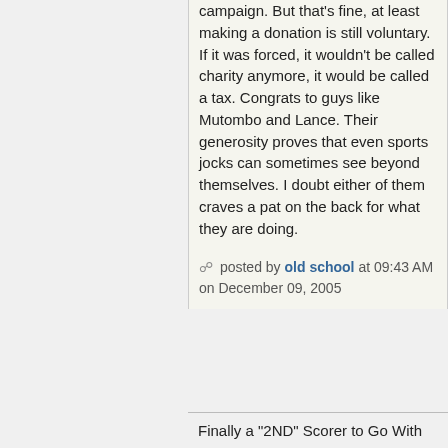campaign. But that's fine, at least making a donation is still voluntary. If it was forced, it wouldn't be called charity anymore, it would be called a tax. Congrats to guys like Mutombo and Lance. Their generosity proves that even sports jocks can sometimes see beyond themselves. I doubt either of them craves a pat on the back for what they are doing.
posted by old school at 09:43 AM on December 09, 2005
Finally a "2ND" Scorer to Go With